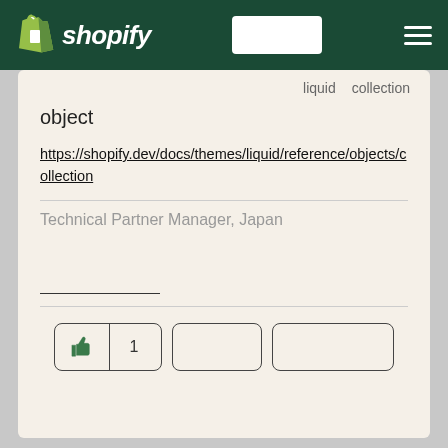shopify
liquid collection object
https://shopify.dev/docs/themes/liquid/reference/objects/collection
Technical Partner Manager, Japan